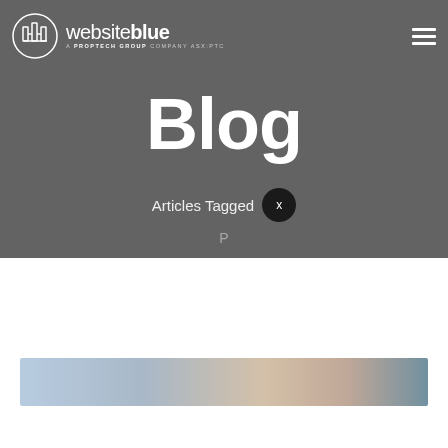[Figure (logo): Website Blue logo — circular icon with stylized building/W shape, text 'websiteblue' with tagline 'A PROPTECH GROUP COMPANY ASX:PTC']
Blog
Articles Tagged
[Figure (photo): Partial view of a photo strip showing people, appears to be a handshake or meeting scene]